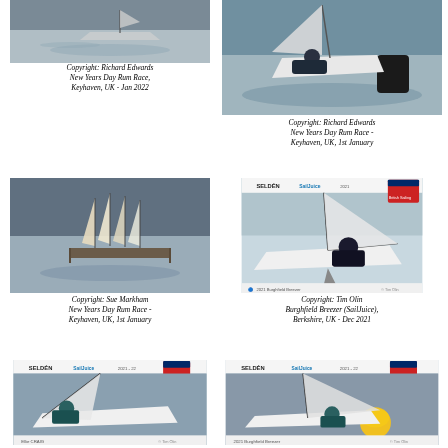[Figure (photo): Sailing boat on water, grey sky - New Years Day Rum Race, Keyhaven, UK]
Copyright: Richard Edwards
New Years Day Rum Race,
Keyhaven, UK - Jan 2022
[Figure (photo): Sailing dinghy heeling sharply on water with black buoy - New Years Day Rum Race]
Copyright: Richard Edwards
New Years Day Rum Race -
Keyhaven, UK, 1st January
[Figure (photo): Multiple sailing dinghies at a dock/pontoon - New Years Day Rum Race]
Copyright: Sue Markham
New Years Day Rum Race -
Keyhaven, UK, 1st January
[Figure (photo): Sailor in wetsuit leaning out of dinghy - Burghfield Breezer SailJuice event, Selden branding]
Copyright: Tim Olin
Burghfield Breezer (SailJuice),
Berkshire, UK - Dec 2021
[Figure (photo): Sailing dinghy capsizing/heeling with sailor - Selden SailJuice 2021-22 branding, Ellie Craig]
[Figure (photo): Sailing dinghy on water near yellow buoy - Selden SailJuice 2021-22, Burghfield Breezer]